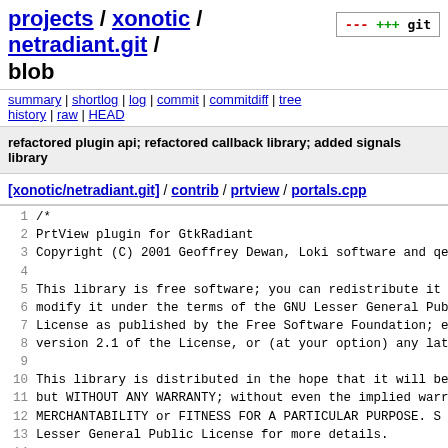projects / xonotic / netradiant.git / blob
summary | shortlog | log | commit | commitdiff | tree history | raw | HEAD
refactored plugin api; refactored callback library; added signals library
[xonotic/netradiant.git] / contrib / prtview / portals.cpp
1  /*
2  PrtView plugin for GtkRadiant
3  Copyright (C) 2001 Geoffrey Dewan, Loki software and qe
4
5  This library is free software; you can redistribute it
6  modify it under the terms of the GNU Lesser General Pub
7  License as published by the Free Software Foundation; e
8  version 2.1 of the License, or (at your option) any lat
9
10 This library is distributed in the hope that it will be
11 but WITHOUT ANY WARRANTY; without even the implied warr
12 MERCHANTABILITY or FITNESS FOR A PARTICULAR PURPOSE.  S
13 Lesser General Public License for more details.
14
15 You should have received a copy of the GNU Lesser Gene
16 License along with this library; if not, write to the F
17 Foundation, Inc., 59 Temple Place, Suite 330, Boston, M
18 */
19